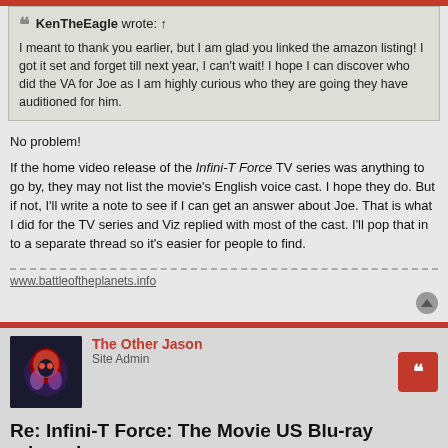KenTheEagle wrote: ↑
I meant to thank you earlier, but I am glad you linked the amazon listing! I got it set and forget till next year, I can't wait! I hope I can discover who did the VA for Joe as I am highly curious who they are going they have auditioned for him.
No problem!
If the home video release of the Infini-T Force TV series was anything to go by, they may not list the movie's English voice cast. I hope they do. But if not, I'll write a note to see if I can get an answer about Joe. That is what I did for the TV series and Viz replied with most of the cast. I'll pop that in to a separate thread so it's easier for people to find.
www.battleoftheplanets.info
The Other Jason
Site Admin
Re: Infini-T Force: The Movie US Blu-ray release!
Post: # 130 © Fri Jan 15, 2021 4:56 pm
Hi Ken,